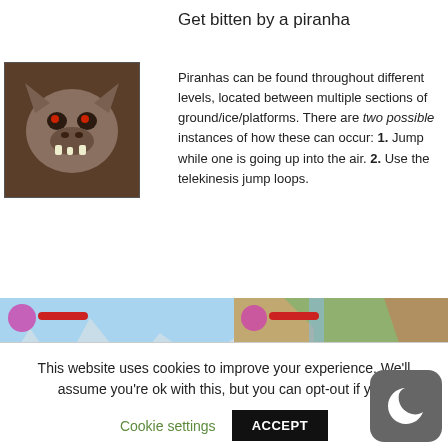Get bitten by a piranha
[Figure (illustration): Dark brown piranha creature icon/badge with skull-like face]
Piranhas can be found throughout different levels, located between multiple sections of ground/ice/platforms. There are two possible instances of how these can occur: 1. Jump while one is going up into the air. 2. Use the telekinesis jump loops.
[Figure (screenshot): Game screenshot showing icy/snowy level with piranha creature, labeled 'Piranha']
[Figure (screenshot): Game screenshot showing jungle/waterfall level with piranhas, labeled 'More Piranhas']
This website uses cookies to improve your experience. We'll assume you're ok with this, but you can opt-out if y...
Cookie settings
ACCEPT